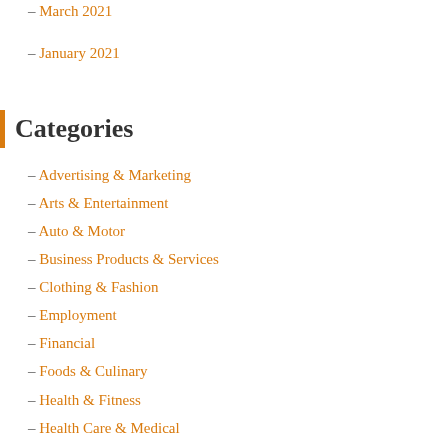– March 2021
– January 2021
Categories
– Advertising & Marketing
– Arts & Entertainment
– Auto & Motor
– Business Products & Services
– Clothing & Fashion
– Employment
– Financial
– Foods & Culinary
– Health & Fitness
– Health Care & Medical